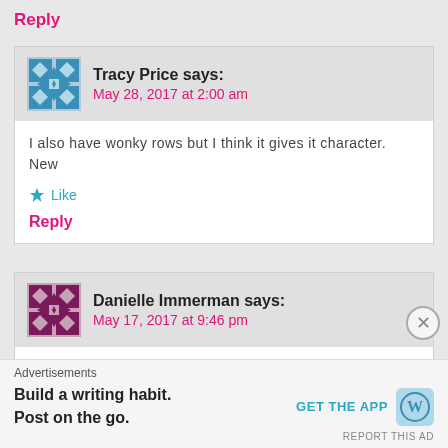Reply
Tracy Price says:
May 28, 2017 at 2:00 am
I also have wonky rows but I think it gives it character. New
Like
Reply
Danielle Immerman says:
May 17, 2017 at 9:46 pm
I have just finished this blanket after more than a year of pic share a photo with you – but can't find the right place to do s straight forward and fun. Danielle
Advertisements
Build a writing habit.
Post on the go.
GET THE APP